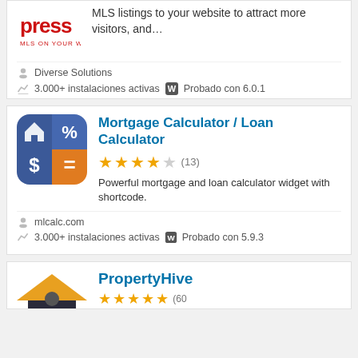MLS listings to your website to attract more visitors, and…
Diverse Solutions
3.000+ instalaciones activas  Probado con 6.0.1
Mortgage Calculator / Loan Calculator
★★★★☆ (13)
Powerful mortgage and loan calculator widget with shortcode.
mlcalc.com
3.000+ instalaciones activas  Probado con 5.9.3
PropertyHive